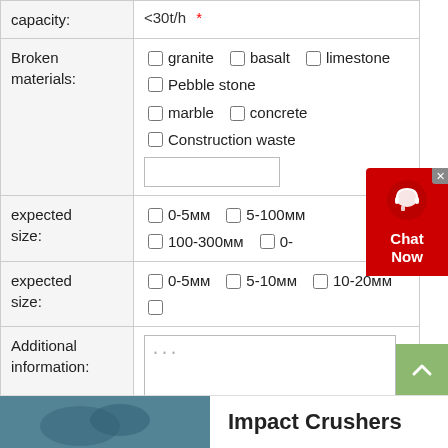| capacity: | <30t/h  * |
| Broken materials: | granite  basalt  limestone  Pebble stone  marble  concrete  Construction waste  [text input] |
| expected size: | 0-5мм  5-100мм  100-300мм  0-... |
| expected size: | 0-5мм  5-10мм  10-20мм  ... |
| Additional information: | ... |
|  | Submit |
[Figure (screenshot): Chat Now widget overlay in red with headset icon and close button]
[Figure (photo): Impact Crushers image thumbnail (teal/blue toned machinery photo)]
Impact Crushers